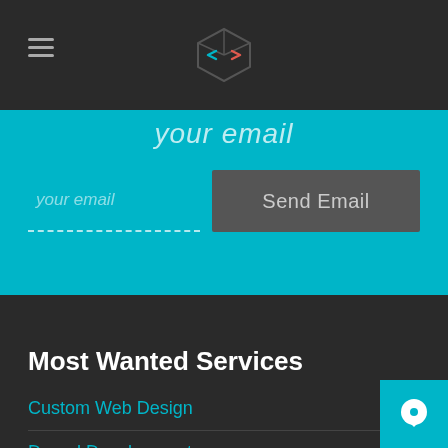Navigation bar with hamburger menu and logo
your email
your email
Send Email
Most Wanted Services
Custom Web Design
Drupal Development
Digital Marketing